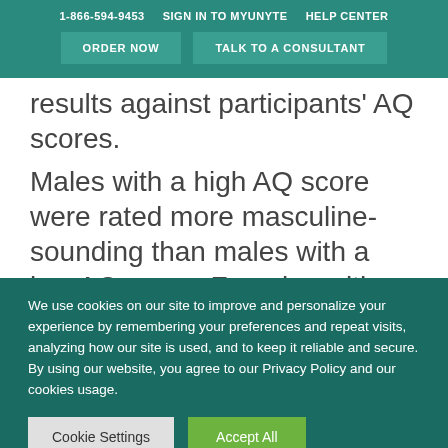1-866-594-9453   SIGN IN TO MYUNYTE   HELP CENTER
ORDER NOW   TALK TO A CONSULTANT
results against participants' AQ scores. Males with a high AQ score were rated more masculine-sounding than males with a low AQ score. Females with a high AQ score were rated less feminine-looking than females with a low
We use cookies on our site to improve and personalize your experience by remembering your preferences and repeat visits, analyzing how our site is used, and to keep it reliable and secure. By using our website, you agree to our Privacy Policy and our cookies usage.
Cookie Settings   Accept All